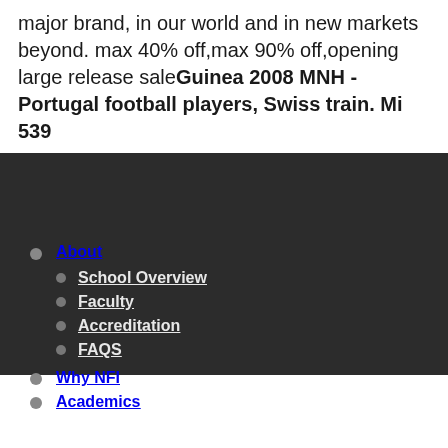major brand, in our world and in new markets beyond. max 40% off,max 90% off,opening large release saleGuinea 2008 MNH - Portugal football players, Swiss train. Mi 539
About
School Overview
Faculty
Accreditation
FAQS
Why NFI
Academics